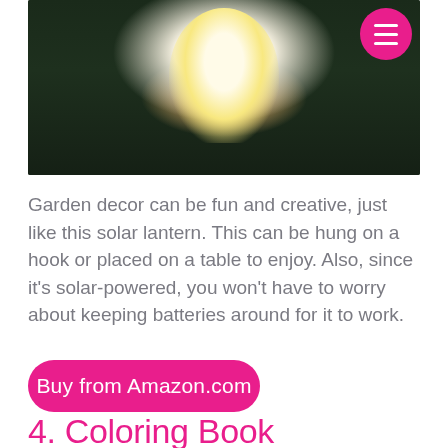[Figure (photo): Solar lantern with hummingbird and floral design, glowing against a dark garden background with purple flowers]
Garden decor can be fun and creative, just like this solar lantern. This can be hung on a hook or placed on a table to enjoy. Also, since it's solar-powered, you won't have to worry about keeping batteries around for it to work.
Buy from Amazon.com
4. Coloring Book